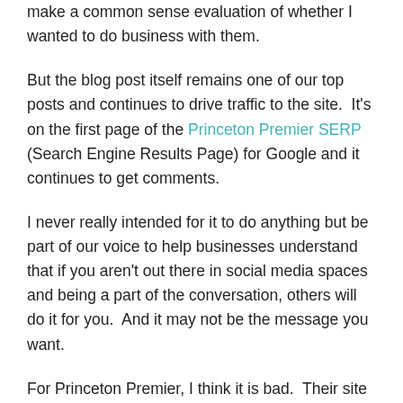make a common sense evaluation of whether I wanted to do business with them.
But the blog post itself remains one of our top posts and continues to drive traffic to the site.  It's on the first page of the Princeton Premier SERP (Search Engine Results Page) for Google and it continues to get comments.
I never really intended for it to do anything but be part of our voice to help businesses understand that if you aren't out there in social media spaces and being a part of the conversation, others will do it for you.  And it may not be the message you want.
For Princeton Premier, I think it is bad.  Their site is number one but almost all the other links are blogs calling them out for being a scam.